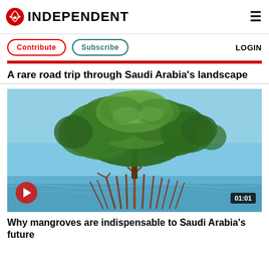INDEPENDENT
Contribute  Subscribe  LOGIN
A rare road trip through Saudi Arabia's landscape
[Figure (photo): A mangrove tree growing in shallow turquoise sea water against a clear blue sky, with a video play button overlay and duration badge showing 01:01]
Why mangroves are indispensable to Saudi Arabia's future